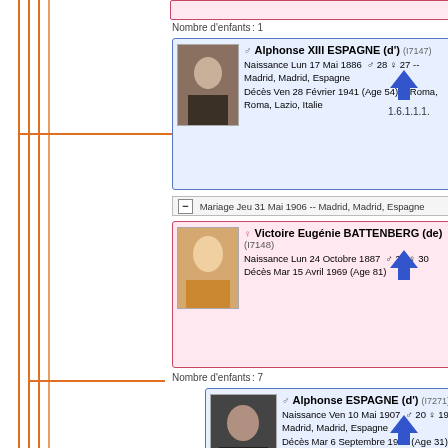Nombre d'enfants : 1
♂ Alphonse XIII ESPAGNE (d') (I7147)
Naissance Lun 17 Mai 1886 ♂ 28 ♀ 27 -- Madrid, Madrid, Espagne
Décès Ven 28 Février 1941 (Age 54) -- Roma, Roma, Lazio, Italie
1.6.1.1.1.
− Mariage Jeu 31 Mai 1906 -- Madrid, Madrid, Espagne
♀ Victoire Eugénie BATTENBERG (de) (I7148)
Naissance Lun 24 Octobre 1887 ♂ 29 ♀ 30
Décès Mar 15 Avril 1969 (Age 81)
Nombre d'enfants : 7
♂ Alphonse ESPAGNE (d') (I7271)
Naissance Ven 10 Mai 1907 ♂ 20 ♀ 19 -- Madrid, Madrid, Espagne
Décès Mar 6 Septembre 1938 (Age 31) -- Miami, Florida, États-Unis d'Amérique
1.6.1.1.1.1.
+ Aucun enfant connu
♂ Jacques Henri ESPAGNE (d') (I7149)
Naissance Mar 23 Juin 1908 ♂ 22 ♀ 20 -- San Ildefonso, Ségovie, Espagne
Décès Jeu 20 Mars 1975 (Age 66) -- Saint-Gall, Saint-Gall, Suisse
1.6.1.1.1.2.
− Mariage Lun 4 Mars 1935
♀ Emmanuelle DAMPIERRE (de) (I7151)